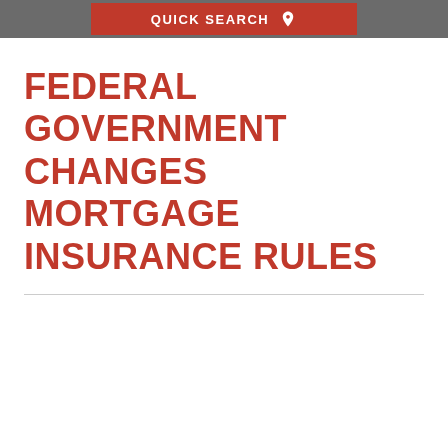QUICK SEARCH
FEDERAL GOVERNMENT CHANGES MORTGAGE INSURANCE RULES